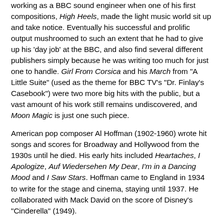working as a BBC sound engineer when one of his first compositions, High Heels, made the light music world sit up and take notice. Eventually his successful and prolific output mushroomed to such an extent that he had to give up his 'day job' at the BBC, and also find several different publishers simply because he was writing too much for just one to handle. Girl From Corsica and his March from "A Little Suite" (used as the theme for BBC TV's "Dr. Finlay's Casebook") were two more big hits with the public, but a vast amount of his work still remains undiscovered, and Moon Magic is just one such piece.
American pop composer Al Hoffman (1902-1960) wrote hit songs and scores for Broadway and Hollywood from the 1930s until he died. His early hits included Heartaches, I Apologize, Auf Wiedersehen My Dear, I'm in a Dancing Mood and I Saw Stars. Hoffman came to England in 1934 to write for the stage and cinema, staying until 1937. He collaborated with Mack David on the score of Disney's "Cinderella" (1949).
Hans May (real name Johann Mayer, d.1959) was a Viennese-born composer and music director who devoted much of his musical life to composing for the screen and stage. Initially he worked in the German film industry, but in 1935 relocated to France, before eventually settling in England in 1937. His